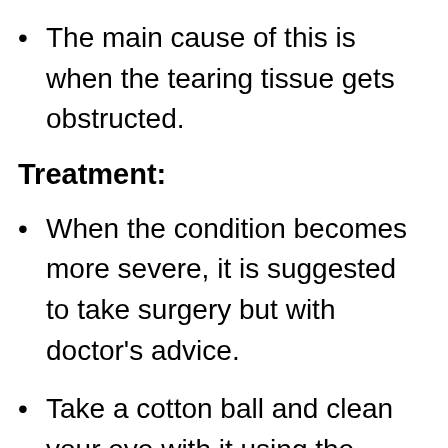The main cause of this is when the tearing tissue gets obstructed.
Treatment:
When the condition becomes more severe, it is suggested to take surgery but with doctor's advice.
Take a cotton ball and clean your eye with it using the warm water.
Keep the outer eye of the baby clean